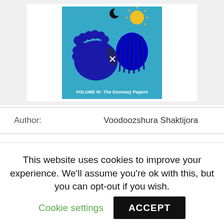[Figure (illustration): Book cover for 'VOLUME III: The Doorway Papers' showing two stylized faces (one with curly hair, one with straight hair) facing each other on a blue background, with a sun and crescent moon above them.]
| Author: | Voodoozshura Shaktijora |
| Country: | Costa Rica |
| Language: | English (Spanish) |
This website uses cookies to improve your experience. We'll assume you're ok with this, but you can opt-out if you wish.
Cookie settings   ACCEPT